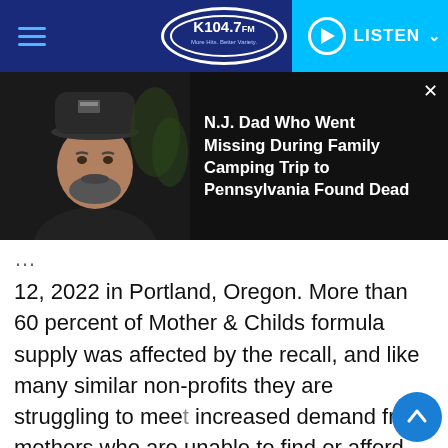K104.7 FM — Navigation bar with hamburger menu, K104.7 FM logo, and LISTEN button
[Figure (screenshot): Media panel showing a man wearing a dark baseball cap and beard on the left, and a news headline overlay on the right reading: N.J. Dad Who Went Missing During Family Camping Trip to Pennsylvania Found Dead]
12, 2022 in Portland, Oregon. More than 60 percent of Mother & Childs formula supply was affected by the recall, and like many similar non-profits they are struggling to meet increased demand from mothers who are unable to find or afford formula in stores. Executive Director Maura White said she's had to turn away mothers looking for formula about three times a week since the recall was